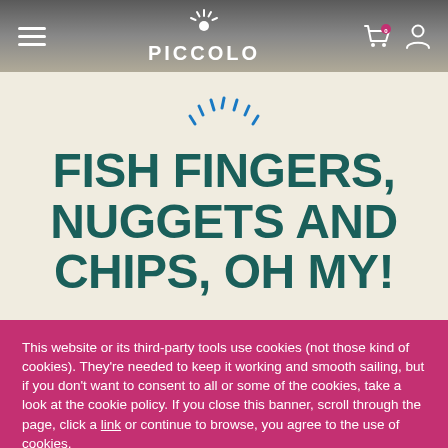Piccolo navigation bar with hamburger menu, logo, cart and user icons
FISH FINGERS, NUGGETS AND CHIPS, OH MY!
This website or its third-party tools use cookies (not those kind of cookies). They're needed to keep it working and smooth sailing, but if you don't want to consent to all or some of the cookies, take a look at the cookie policy. If you close this banner, scroll through the page, click a link or continue to browse, you agree to the use of cookies.